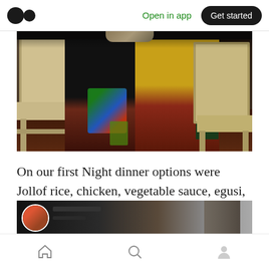Medium logo | Open in app | Get started
[Figure (photo): People sitting on plastic chairs, one wearing a yellow top with dark hair, another in dark clothing with a colorful bag. Dark indoor/outdoor setting.]
On our first Night dinner options were Jollof rice, chicken, vegetable sauce, egusi, pounded yam, plantains and watermelon.
[Figure (photo): Partial view of a second photo showing a person's avatar/profile image and dark background, partially cropped at the bottom of the page.]
Home | Search | Profile navigation icons